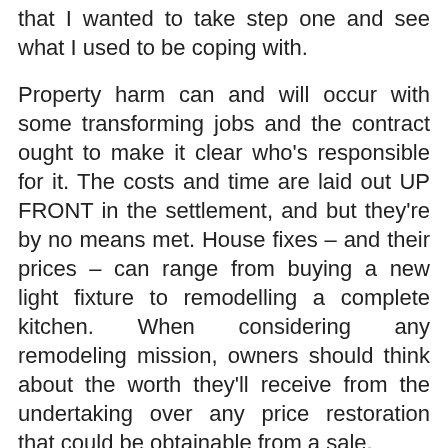that I wanted to take step one and see what I used to be coping with.
Property harm can and will occur with some transforming jobs and the contract ought to make it clear who's responsible for it. The costs and time are laid out UP FRONT in the settlement, and but they're by no means met. House fixes – and their prices – can range from buying a new light fixture to remodelling a complete kitchen. When considering any remodeling mission, owners should think about the worth they'll receive from the undertaking over any price restoration that could be obtainable from a sale.
POSTED IN: HOME REMODEL FILED UNDER: ADDITIONS, CHICAGO, HOUSE, KITCHEN